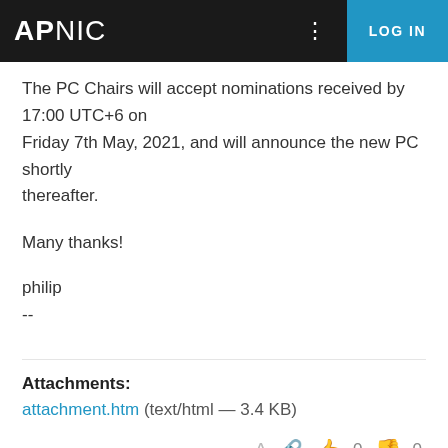APNIC | LOG IN
The PC Chairs will accept nominations received by 17:00 UTC+6 on Friday 7th May, 2021, and will announce the new PC shortly thereafter.

Many thanks!

philip
--
Attachments:
attachment.htm (text/html — 3.4 KB)
👍 0  👎 0
↩ Reply